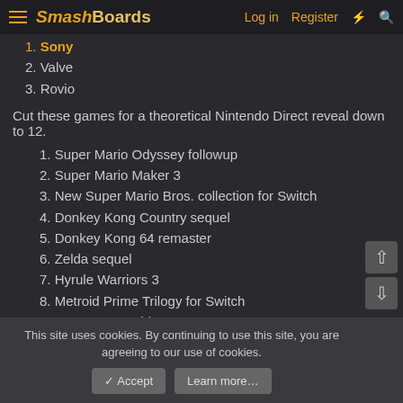SmashBoards | Log in | Register
1. Sony
2. Valve
3. Rovio
Cut these games for a theoretical Nintendo Direct reveal down to 12.
1. Super Mario Odyssey followup
2. Super Mario Maker 3
3. New Super Mario Bros. collection for Switch
4. Donkey Kong Country sequel
5. Donkey Kong 64 remaster
6. Zelda sequel
7. Hyrule Warriors 3
8. Metroid Prime Trilogy for Switch
9. New 2D Metroid
10. New Yoshi game
11. New Star Fox game
12. Pokemon Stadium 3
This site uses cookies. By continuing to use this site, you are agreeing to our use of cookies.